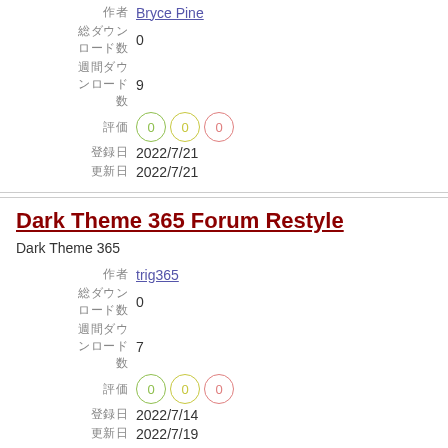作者: Bryce Pine
総ダウンロード数: 0
週間ダウンロード数: 9
評価: 0 0 0
登録日: 2022/7/21
更新日: 2022/7/21
Dark Theme 365 Forum Restyle
Dark Theme 365
作者: trig365
総ダウンロード数: 0
週間ダウンロード数: 7
評価: 0 0 0
登録日: 2022/7/14
更新日: 2022/7/19
Just Dance Now Modern
An rebranded Just Dance Now Style
作者: Pakar
総ダウンロード数: 2
週間ダウンロード数: 134